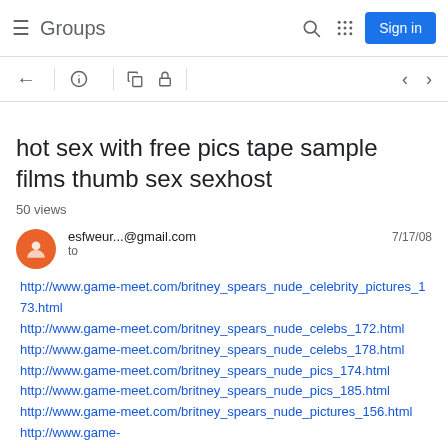Groups  Sign in
hot sex with free pics tape sample films thumb sex sexhost
50 views
esfweur...@gmail.com  to  7/17/08
http://www.game-meet.com/britney_spears_nude_celebrity_pictures_173.html
http://www.game-meet.com/britney_spears_nude_celebs_172.html
http://www.game-meet.com/britney_spears_nude_celebs_178.html
http://www.game-meet.com/britney_spears_nude_pics_174.html
http://www.game-meet.com/britney_spears_nude_pics_185.html
http://www.game-meet.com/britney_spears_nude_pictures_156.html
http://www.game-meet.com/britney_spears_nude_pictures_188.html